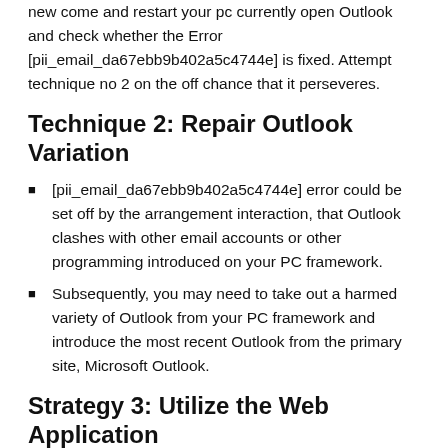new come and restart your pc currently open Outlook and check whether the Error [pii_email_da67ebb9b402a5c4744e] is fixed. Attempt technique no 2 on the off chance that it perseveres.
Technique 2: Repair Outlook Variation
[pii_email_da67ebb9b402a5c4744e] error could be set off by the arrangement interaction, that Outlook clashes with other email accounts or other programming introduced on your PC framework.
Subsequently, you may need to take out a harmed variety of Outlook from your PC framework and introduce the most recent Outlook from the primary site, Microsoft Outlook.
Strategy 3: Utilize the Web Application